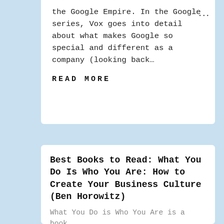the Google Empire. In the Google series, Vox goes into detail about what makes Google so special and different as a company (looking back…
READ MORE
Best Books to Read: What You Do Is Who You Are: How to Create Your Business Culture (Ben Horowitz)
What You Do is Who You Are is a book